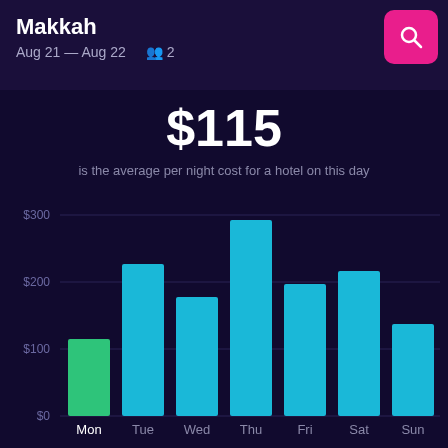Makkah
Aug 21 — Aug 22  2
$115
is the average per night cost for a hotel on this day
[Figure (bar-chart): Hotel price by day of week]